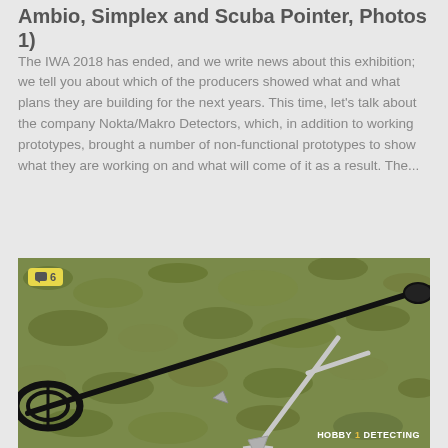Ambio, Simplex and Scuba Pointer, Photos 1)
The IWA 2018 has ended, and we write news about this exhibition; we tell you about which of the producers showed what and what plans they are building for the next years. This time, let's talk about the company Nokta/Makro Detectors, which, in addition to working prototypes, brought a number of non-functional prototypes to show what they are working on and what will come of it as a result. The...
[Figure (photo): Photo of a metal detector laying on grass alongside a shovel/digging tool. The metal detector has a round black coil and a long black shaft. A silver digging tool with a T-handle is also visible on the grass. A yellow comment badge showing '6' is in the top-left corner. A 'HOBBY DETECTING' watermark appears at the bottom right.]